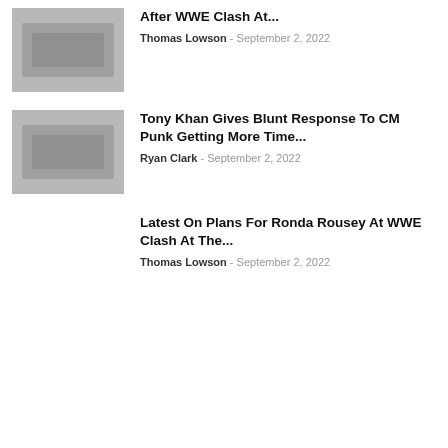[Figure (photo): Thumbnail image for WWE article, dark/greyed out photo of wrestlers]
After WWE Clash At...
Thomas Lowson - September 2, 2022
[Figure (photo): Thumbnail image showing Tony Khan and CM Punk, dark/greyed out photo]
Tony Khan Gives Blunt Response To CM Punk Getting More Time...
Ryan Clark - September 2, 2022
Latest On Plans For Ronda Rousey At WWE Clash At The...
Thomas Lowson - September 2, 2022